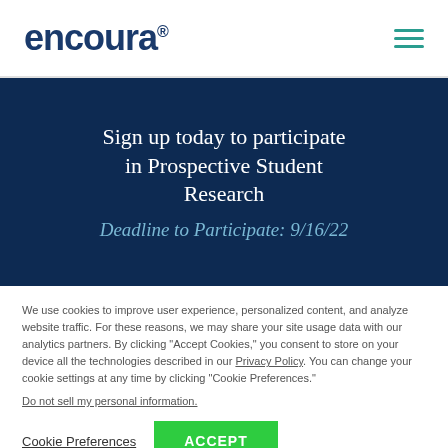[Figure (logo): encoura logo in dark navy blue with registered trademark symbol, hamburger menu icon in teal on the right]
Sign up today to participate in Prospective Student Research
Deadline to Participate: 9/16/22
We use cookies to improve user experience, personalized content, and analyze website traffic. For these reasons, we may share your site usage data with our analytics partners. By clicking "Accept Cookies," you consent to store on your device all the technologies described in our Privacy Policy. You can change your cookie settings at any time by clicking "Cookie Preferences."
Do not sell my personal information.
Cookie Preferences   ACCEPT